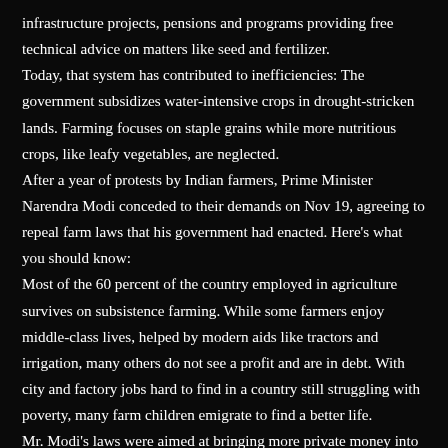infrastructure projects, pensions and programs providing free technical advice on matters like seed and fertilizer. Today, that system has contributed to inefficiencies: The government subsidizes water-intensive crops in drought-stricken lands. Farming focuses on staple grains while more nutritious crops, like leafy vegetables, are neglected. After a year of protests by Indian farmers, Prime Minister Narendra Modi conceded to their demands on Nov 19, agreeing to repeal farm laws that his government had enacted. Here's what you should know: Most of the 60 percent of the country employed in agriculture survives on subsistence farming. While some farmers enjoy middle-class lives, helped by modern aids like tractors and irrigation, many others do not see a profit and are in debt. With city and factory jobs hard to find in a country still struggling with poverty, many farm children emigrate to find a better life. Mr. Modi's laws were aimed at bringing more private money into agriculture and making it more receptive to market forces. Mr.